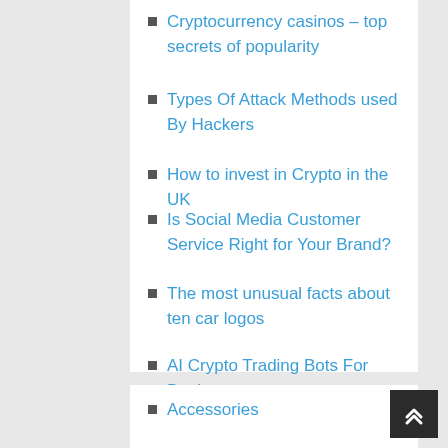Cryptocurrency casinos – top secrets of popularity
Types Of Attack Methods used By Hackers
How to invest in Crypto in the UK
Is Social Media Customer Service Right for Your Brand?
The most unusual facts about ten car logos
AI Crypto Trading Bots For Beginners
Great Ways to Get From Place to Place When You Are on Vacation
Accessories